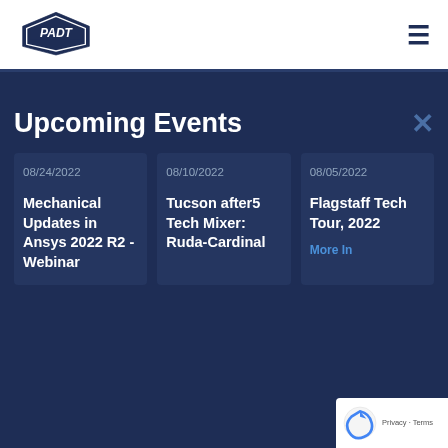[Figure (logo): PADT company logo with diamond/shield shape and PADT text]
Upcoming Events
08/24/2022
Mechanical Updates in Ansys 2022 R2 - Webinar
08/10/2022
Tucson after5 Tech Mixer: Ruda-Cardinal
08/05/2022
Flagstaff Tech Tour, 2022
More In...